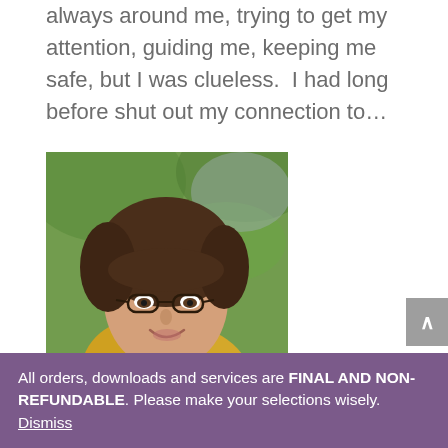...was trying to reach me. They were always around me, trying to get my attention, guiding me, keeping me safe, but I was clueless.  I had long before shut out my connection to...
[Figure (photo): Portrait photo of a middle-aged woman with short brown hair and glasses, wearing a yellow top, smiling, with green blurred background]
All orders, downloads and services are FINAL AND NON-REFUNDABLE. Please make your selections wisely. Dismiss